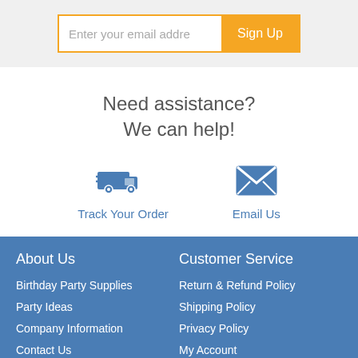Enter your email address
Sign Up
Need assistance?
We can help!
[Figure (illustration): Delivery truck icon in blue]
Track Your Order
[Figure (illustration): Email envelope icon in blue]
Email Us
About Us
Customer Service
Birthday Party Supplies
Return & Refund Policy
Party Ideas
Shipping Policy
Company Information
Privacy Policy
Contact Us
My Account
Customer Support